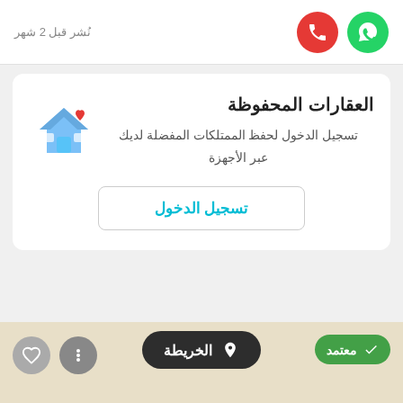نُشر قبل 2 شهر
العقارات المحفوظة
تسجيل الدخول لحفظ الممتلكات المفضلة لديك عبر الأجهزة
تسجيل الدخول
الخريطة
معتمد